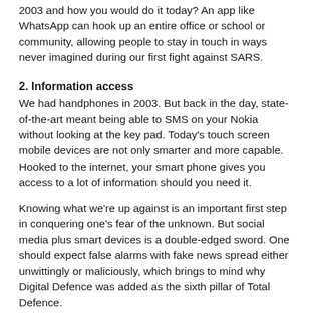2003 and how you would do it today? An app like WhatsApp can hook up an entire office or school or community, allowing people to stay in touch in ways never imagined during our first fight against SARS.
2. Information access
We had handphones in 2003. But back in the day, state-of-the-art meant being able to SMS on your Nokia without looking at the key pad. Today's touch screen mobile devices are not only smarter and more capable. Hooked to the internet, your smart phone gives you access to a lot of information should you need it.
Knowing what we're up against is an important first step in conquering one's fear of the unknown. But social media plus smart devices is a double-edged sword. One should expect false alarms with fake news spread either unwittingly or maliciously, which brings to mind why Digital Defence was added as the sixth pillar of Total Defence.
3. Seasoned population
People over the age of 20 are likely to remember their